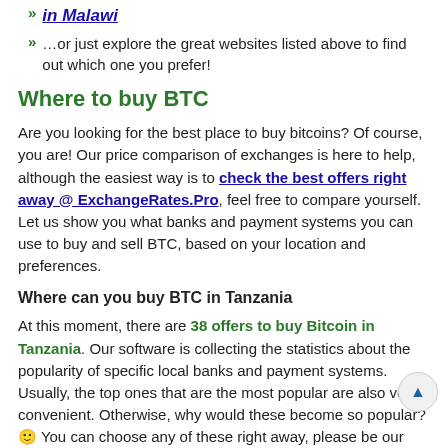in Malawi ...or just explore the great websites listed above to find out which one you prefer!
Where to buy BTC
Are you looking for the best place to buy bitcoins? Of course, you are! Our price comparison of exchanges is here to help, although the easiest way is to check the best offers right away @ ExchangeRates.Pro, feel free to compare yourself. Let us show you what banks and payment systems you can use to buy and sell BTC, based on your location and preferences.
Where can you buy BTC in Tanzania
At this moment, there are 38 offers to buy Bitcoin in Tanzania. Our software is collecting the statistics about the popularity of specific local banks and payment systems. Usually, the top ones that are the most popular are also very convenient. Otherwise, why would these become so popular? 🙂 You can choose any of these right away, please be our guest:
Any Local Bank in TZS: payments by Local Banks. This one is a universal offer, that will work for any bank. Offered 2 times
Visa & Mastercard in TZS, although can be used in any currency: payments by Credit/Debit Cards. A global